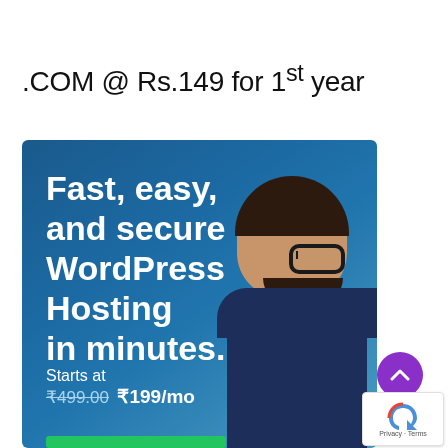.COM @ Rs.149 for 1st year
[Figure (infographic): Web hosting advertisement banner with blue gradient background, showing a smiling man with glasses and beard wearing a dark blue sweater. Text reads 'Fast, easy, and secure WordPress Hosting in minutes.' with pricing 'Starts at ₹499.00 ₹199/mo' and a green CTA button at bottom.]
[Figure (other): Purple circular scroll-to-top button with upward chevron arrow.]
[Figure (other): Google reCAPTCHA badge showing reCAPTCHA logo with 'Privacy - Terms' text.]